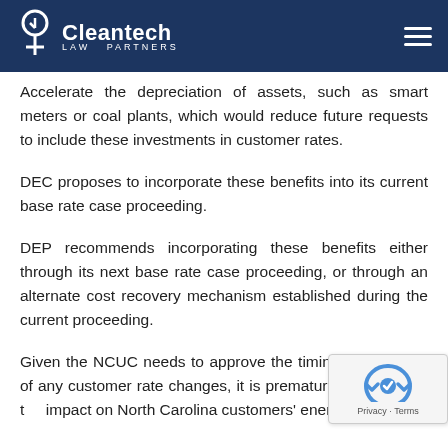Cleantech Law Partners
Accelerate the depreciation of assets, such as smart meters or coal plants, which would reduce future requests to include these investments in customer rates.
DEC proposes to incorporate these benefits into its current base rate case proceeding.
DEP recommends incorporating these benefits either through its next base rate case proceeding, or through an alternate cost recovery mechanism established during the current proceeding.
Given the NCUC needs to approve the timing and amount of any customer rate changes, it is premature to determine the impact on North Carolina customers' energy bills.